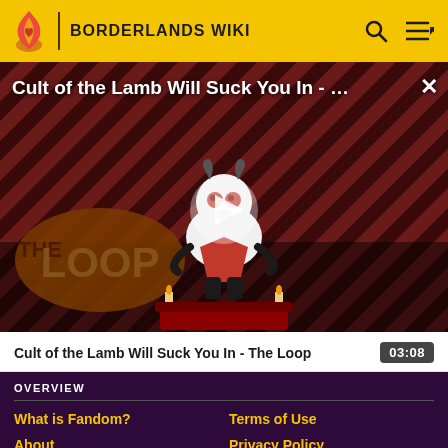BORDERLANDS WIKI
[Figure (screenshot): Video thumbnail showing 'Cult of the Lamb Will Suck You In - ...' with a cartoon lamb character on a striped red/dark background, with THE LOOP logo, a play button overlay, and a close (X) button]
Cult of the Lamb Will Suck You In - The Loop
03:08
OVERVIEW
What is Fandom?
Terms of Use
About
Privacy Policy